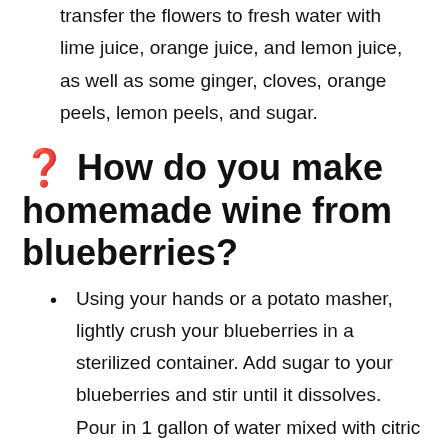transfer the flowers to fresh water with lime juice, orange juice, and lemon juice, as well as some ginger, cloves, orange peels, lemon peels, and sugar.
❓ How do you make homemade wine from blueberries?
Using your hands or a potato masher, lightly crush your blueberries in a sterilized container. Add sugar to your blueberries and stir until it dissolves. Pour in 1 gallon of water mixed with citric acid, petric enzyme, and yeast nutrient.